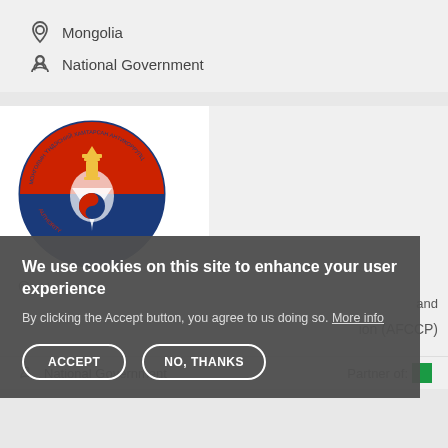Mongolia
National Government
[Figure (logo): Mongolian government circular seal/logo with red, blue, white and gold colors, featuring a Soyombo symbol]
We use cookies on this site to enhance your user experience
By clicking the Accept button, you agree to us doing so. More info
ACCEPT
NO, THANKS
Mongolia
National Government
Partner of: